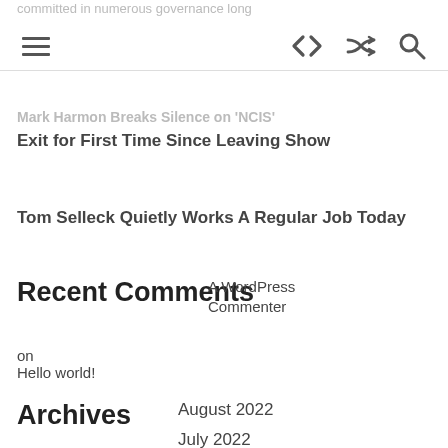committed in numerous governance long
Navigation bar with hamburger menu, code, shuffle, and search icons
Mark Harmon Breaks Silence on 'NCIS' Exit for First Time Since Leaving Show
Tom Selleck Quietly Works A Regular Job Today
Recent Comments
A WordPress Commenter
on
Hello world!
Archives
August 2022
July 2022
June 2022